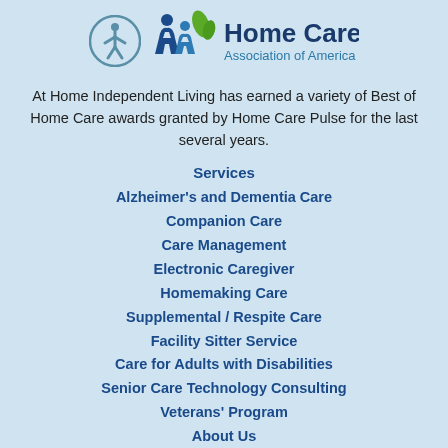[Figure (logo): Accessibility icon (circle with person) and Home Care Association of America logo with stylized figures in blue and green]
At Home Independent Living has earned a variety of Best of Home Care awards granted by Home Care Pulse for the last several years.
Services
Alzheimer's and Dementia Care
Companion Care
Care Management
Electronic Caregiver
Homemaking Care
Supplemental / Respite Care
Facility Sitter Service
Care for Adults with Disabilities
Senior Care Technology Consulting
Veterans' Program
About Us
Our Difference
FAQs